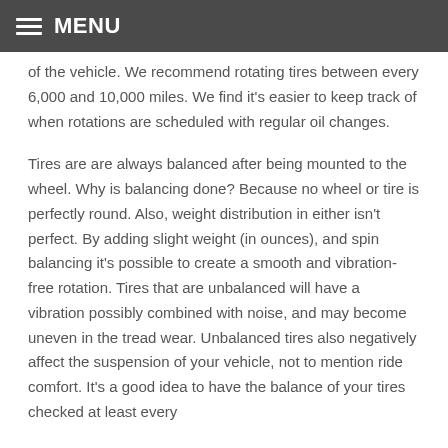MENU
of the vehicle. We recommend rotating tires between every 6,000 and 10,000 miles. We find it's easier to keep track of when rotations are scheduled with regular oil changes.
Tires are are always balanced after being mounted to the wheel. Why is balancing done? Because no wheel or tire is perfectly round. Also, weight distribution in either isn't perfect. By adding slight weight (in ounces), and spin balancing it's possible to create a smooth and vibration-free rotation. Tires that are unbalanced will have a vibration possibly combined with noise, and may become uneven in the tread wear. Unbalanced tires also negatively affect the suspension of your vehicle, not to mention ride comfort. It's a good idea to have the balance of your tires checked at least every